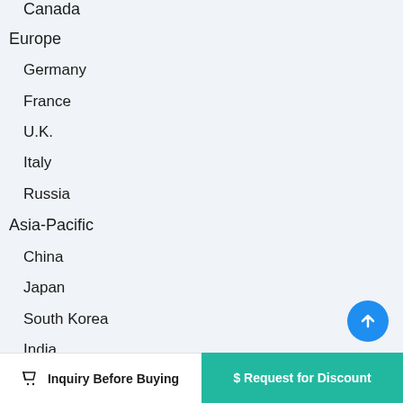Canada
Europe
Germany
France
U.K.
Italy
Russia
Asia-Pacific
China
Japan
South Korea
India
Australia
Taiwan
Indonesia
Thailand
Inquiry Before Buying   $ Request for Discount